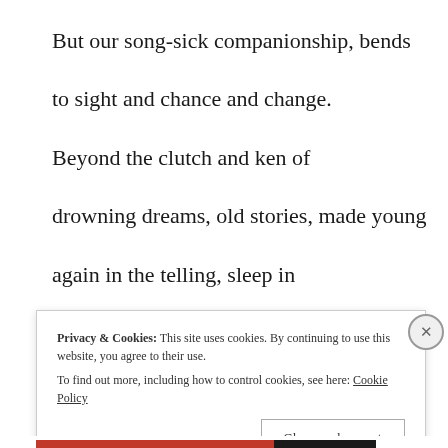But our song-sick companionship, bends
to sight and chance and change.
Beyond the clutch and ken of
drowning dreams, old stories, made young
again in the telling, sleep in
Privacy & Cookies: This site uses cookies. By continuing to use this website, you agree to their use. To find out more, including how to control cookies, see here: Cookie Policy
Close and accept